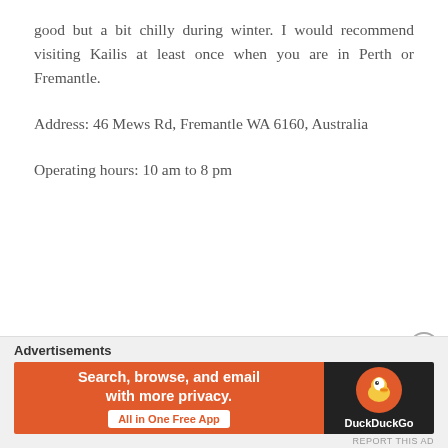good but a bit chilly during winter. I would recommend visiting Kailis at least once when you are in Perth or Fremantle.
Address: 46 Mews Rd, Fremantle WA 6160, Australia
Operating hours: 10 am to 8 pm
[Figure (screenshot): DuckDuckGo advertisement banner with orange left panel showing 'Search, browse, and email with more privacy. All in One Free App' and dark right panel with DuckDuckGo duck logo and brand name.]
Advertisements